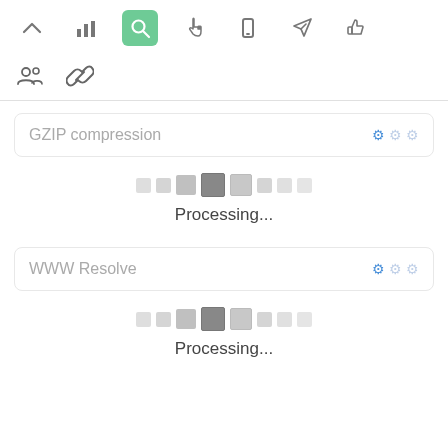[Figure (screenshot): Top navigation toolbar with icons: chevron up, bar chart, search (highlighted green), hand cursor, mobile, rocket/send, thumbs up]
[Figure (screenshot): Second toolbar row with users icon and chain/link icon]
GZIP compression
[Figure (infographic): Loading animation squares in a row, with middle squares darker (active state)]
Processing...
WWW Resolve
[Figure (infographic): Loading animation squares in a row, with middle squares darker (active state)]
Processing...